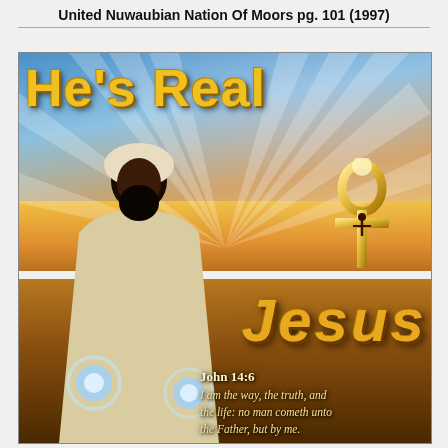United Nuwaubian Nation Of Moors pg. 101 (1997)
[Figure (illustration): Religious illustration showing large gold 3D text 'He's Real' at top left over a blue/orange sunset sky background with light rays. An ankh cross symbol with a crucified figure is in the upper right. A dark-skinned man in white robes holding glowing blue orbs stands on the left. Large gold italic 3D text 'Jesus' appears in the lower center-right. A Bible verse from John 14:6 reads 'I am the way, the truth, and the life: no man cometh unto the Father, but by me.' appears at bottom right in gold italic text.]